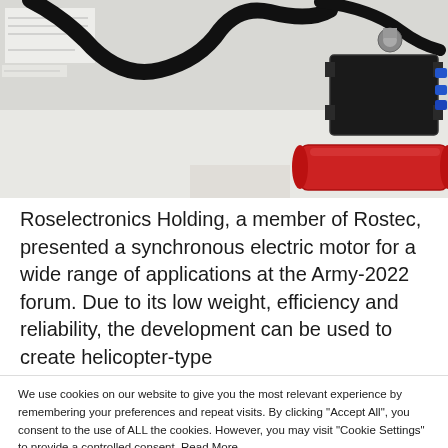[Figure (photo): Close-up photo of electronic/electromechanical equipment showing black cables, metal connectors, a black rectangular device with blue connectors, and a red cylindrical component on a white surface. A label is partially visible at the top left.]
Roselectronics Holding, a member of Rostec, presented a synchronous electric motor for a wide range of applications at the Army-2022 forum. Due to its low weight, efficiency and reliability, the development can be used to create helicopter-type
We use cookies on our website to give you the most relevant experience by remembering your preferences and repeat visits. By clicking "Accept All", you consent to the use of ALL the cookies. However, you may visit "Cookie Settings" to provide a controlled consent. Read More